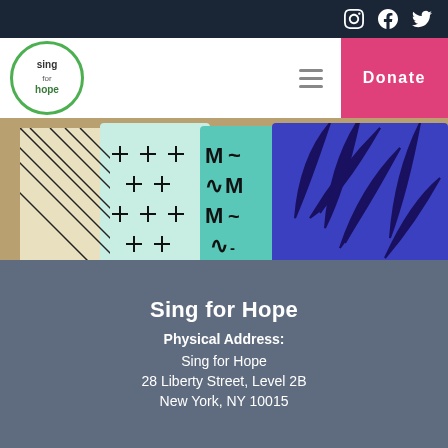Sing for Hope — Navigation header with logo, hamburger menu, and Donate button
[Figure (photo): Colorful patterned fabric pieces laid out on a wooden surface: striped, cross/plus pattern (mint), zigzag (teal), and tropical leaf (dark blue/purple)]
In the Wild
Dirty Bandits
Sing for Hope
Physical Address:
Sing for Hope
28 Liberty Street, Level 2B
New York, NY 10015